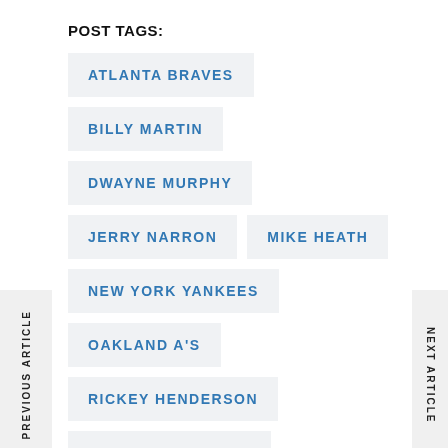POST TAGS:
ATLANTA BRAVES
BILLY MARTIN
DWAYNE MURPHY
JERRY NARRON
MIKE HEATH
NEW YORK YANKEES
OAKLAND A'S
RICKEY HENDERSON
SPARKY ANDERSON
PREVIOUS ARTICLE
NEXT ARTICLE